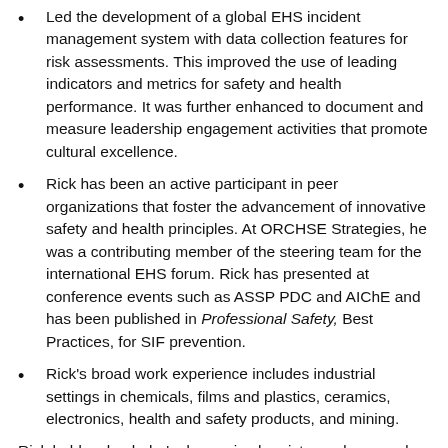Led the development of a global EHS incident management system with data collection features for risk assessments. This improved the use of leading indicators and metrics for safety and health performance. It was further enhanced to document and measure leadership engagement activities that promote cultural excellence.
Rick has been an active participant in peer organizations that foster the advancement of innovative safety and health principles. At ORCHSE Strategies, he was a contributing member of the steering team for the international EHS forum. Rick has presented at conference events such as ASSP PDC and AIChE and has been published in Professional Safety, Best Practices, for SIF prevention.
Rick's broad work experience includes industrial settings in chemicals, films and plastics, ceramics, electronics, health and safety products, and mining.
Rick holds a bachelor's degree in chemistry and pre-med from Pfeiffer University in North Carolina.  He has been a Certified Safety Professional and ASSP Professional Member since